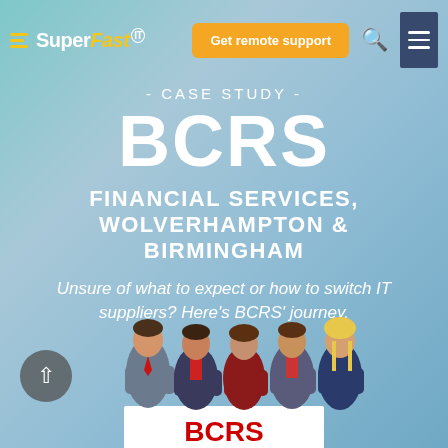[Figure (logo): SuperFast IT logo with yellow lines and text in white/yellow on teal background]
Get remote support
- CASE STUDY -
BCRS
FINANCIAL SERVICES, WOLVERHAMPTON & BIRMINGHAM
Unsure of what to expect or how to switch IT suppliers? Here's BCRS' journey.
[Figure (illustration): Group of five illustrated cartoon business people standing together holding a BCRS sign at the bottom]